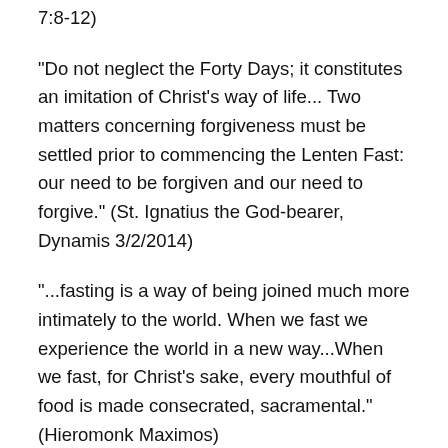7:8-12)
"Do not neglect the Forty Days; it constitutes an imitation of Christ's way of life... Two matters concerning forgiveness must be settled prior to commencing the Lenten Fast: our need to be forgiven and our need to forgive." (St. Ignatius the God-bearer, Dynamis 3/2/2014)
"...fasting is a way of being joined much more intimately to the world. When we fast we experience the world in a new way...When we fast, for Christ's sake, every mouthful of food is made consecrated, sacramental." (Hieromonk Maximos)